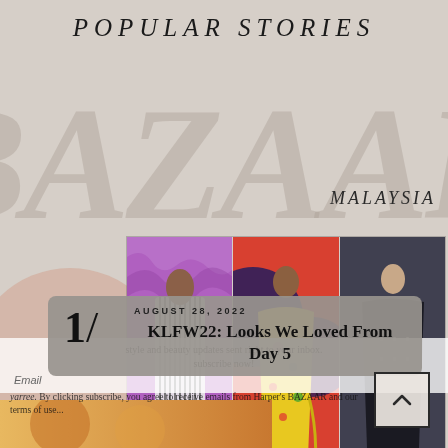POPULAR STORIES
[Figure (photo): Large watermark text 'BAZAR' in italic serif font behind content, with 'MALAYSIA' text visible on right side]
[Figure (photo): Fashion runway collage of three panels: left shows male model in striped suit on purple background, center shows model in yellow floral dress on orange/red background, right shows model in dark dress on dark background]
style and beauty updates sent right to your inbox. subscribe now!
Email
1/
AUGUST 28, 2022
KLFW22: Looks We Loved From Day 5
yarree. By clicking subscribe, you agree to receive emails from Harper's BAZAAR and our terms of use...
[Figure (photo): Bottom strip showing partial image with warm golden/orange tones]